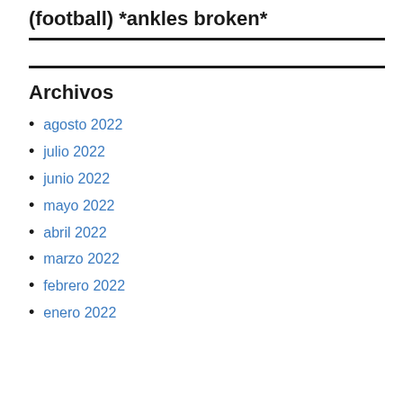(football) *ankles broken*
Archivos
agosto 2022
julio 2022
junio 2022
mayo 2022
abril 2022
marzo 2022
febrero 2022
enero 2022